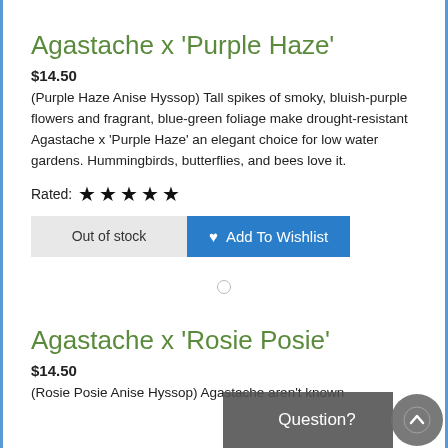Agastache x 'Purple Haze'
$14.50
(Purple Haze Anise Hyssop) Tall spikes of smoky, bluish-purple flowers and fragrant, blue-green foliage make drought-resistant Agastache x 'Purple Haze' an elegant choice for low water gardens. Hummingbirds, butterflies, and bees love it.
Rated: ★★★★★
Out of stock    Add To Wishlist
Agastache x 'Rosie Posie'
$14.50
(Rosie Posie Anise Hyssop) Agastache aren't known
Question?